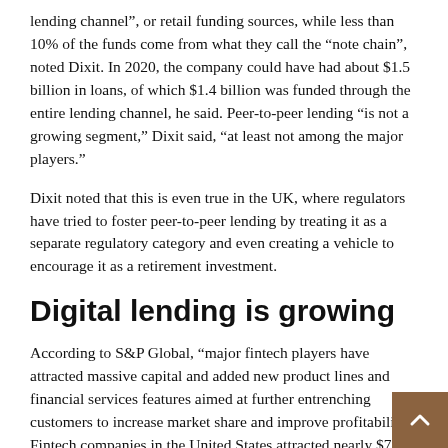lending channel", or retail funding sources, while less than 10% of the funds come from what they call the “note chain”, noted Dixit. In 2020, the company could have had about $1.5 billion in loans, of which $1.4 billion was funded through the entire lending channel, he said. Peer-to-peer lending “is not a growing segment,” Dixit said, “at least not among the major players.”
Dixit noted that this is even true in the UK, where regulators have tried to foster peer-to-peer lending by treating it as a separate regulatory category and even creating a vehicle to encourage it as a retirement investment.
Digital lending is growing
According to S&P Global, “major fintech players have attracted massive capital and added new product lines and financial services features aimed at further entrenching customers to increase market share and improve profitability. Fintech companies in the United States attracted nearly $7.5 billion in